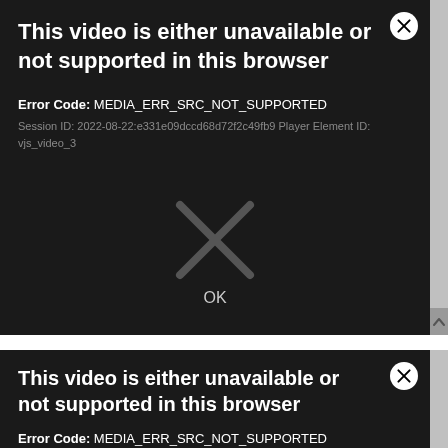[Figure (screenshot): Video player error dialog 1: dark background modal showing 'This video is either unavailable or not supported in this browser' with Error Code: MEDIA_ERR_SRC_NOT_SUPPORTED, Session ID: 2022-08-22:e331e09dccd68d72f2c49fb9 Player Element ID: vjs_video_3, a large X watermark, and an OK button]
[Figure (screenshot): Video player error dialog 2 (partially visible): same error message 'This video is either unavailable or not supported in this browser' with Error Code: MEDIA_ERR_SRC_NOT_SUPPORTED, Session ID: 2022-08-22:ae3f869cc95c468a540f98 Player Element ID: (cut off)]